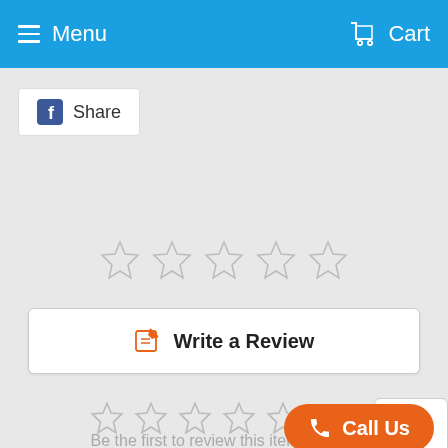Menu  Cart
[Figure (screenshot): Facebook Share button with white background]
[Figure (other): Five empty star rating icons (outline only)]
[Figure (other): Write a Review button with orange pencil icon]
[Figure (other): Scroll to top circular arrow button]
[Figure (other): Five empty star rating icons (smaller, gray)]
Be the first to review this item
[Figure (other): Orange Call Us button with phone icon]